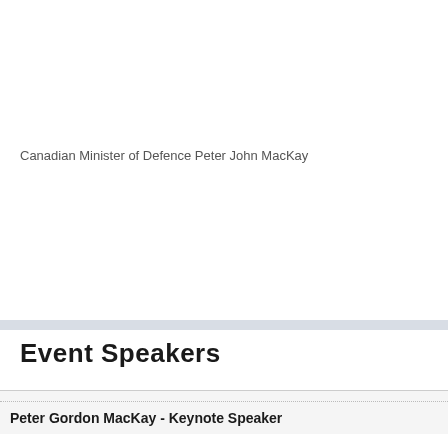Canadian Minister of Defence Peter John MacKay
Event Speakers
| Peter Gordon MacKay - Keynote Speaker |